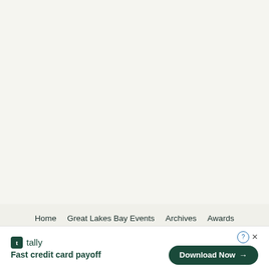Home  Great Lakes Bay Events  Archives  Awards  Advertising  Terms of Use  Privacy Policy  Contact Us
© 2022 Review Magazine. All Rights Reserved.
[Figure (infographic): Tally app advertisement banner with logo, tagline 'Fast credit card payoff', and a 'Download Now' button with arrow on dark green pill-shaped background. Help and close icons in top right.]